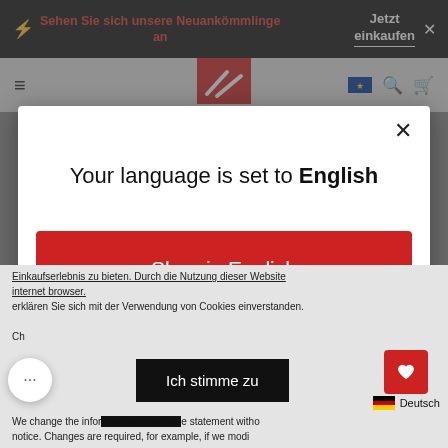[Figure (screenshot): Black top banner with lightning bolt icon, red German promotional text 'Sehen Sie sich unsere Neuankömmlinge an', white 'Jetzt einkaufen' text with underline, and close X button]
[Figure (screenshot): Gray navigation bar with hamburger menu, red square logo with white diagonal lines, EU flag icon, search icon, and cart icon]
[Figure (screenshot): Modal dialog with white background, close X, language selection message, red Shop button, and Change language link. Background shows dimmed website content and cookie consent bar.]
Your language is set to English
Shop in English
Change language
Einkaufserlebnis zu bieten. Durch die Nutzung dieser Website internet browser. erklären Sie sich mit der Verwendung von Cookies einverstanden.
Ich stimme zu
We change the information of the statement without notice. Changes are required, for example, if we modi
Deutsch